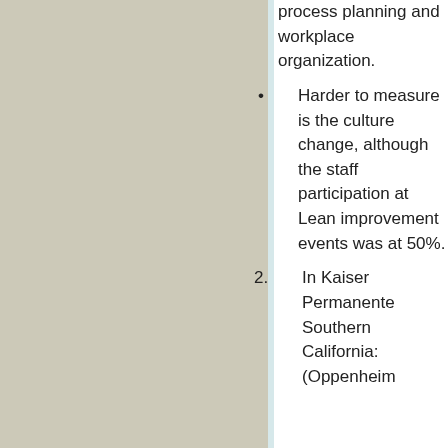process planning and workplace organization.
Harder to measure is the culture change, although the staff participation at Lean improvement events was at 50%.
2. In Kaiser Permanente Southern California: (Oppenheim